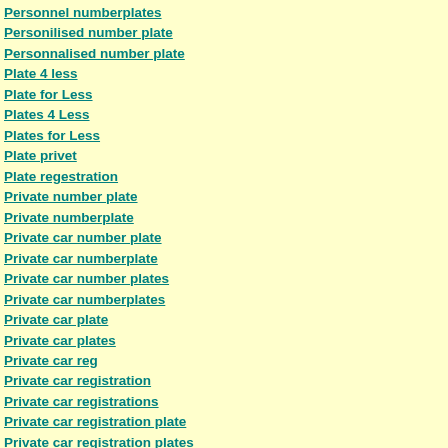Personnel numberplates
Personilised number plate
Personnalised number plate
Plate 4 less
Plate for Less
Plates 4 Less
Plates for Less
Plate privet
Plate regestration
Private number plate
Private numberplate
Private car number plate
Private car numberplate
Private car number plates
Private car numberplates
Private car plate
Private car plates
Private car reg
Private car registration
Private car registrations
Private car registration plate
Private car registration plates
Private license plate
Private number car plate
Private number plate
Private number plates
Private number plate sales
P rivate number plate in uk
Private number plate uk
Private number plates